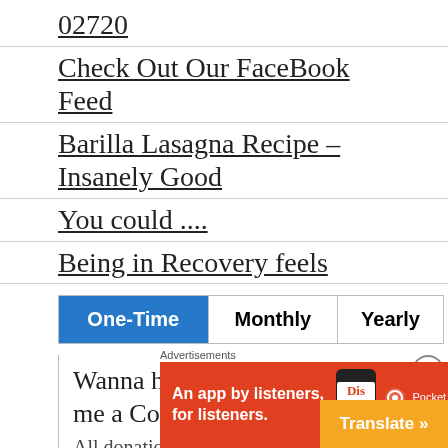02720
Check Out Our FaceBook Feed
Barilla Lasagna Recipe – Insanely Good
You could ....
Being in Recovery feels
| One-Time | Monthly | Yearly |
| --- | --- | --- |
Wanna help this MomBie & Buy me a Coffee?
All donations go back to the page
Advertisements
[Figure (screenshot): Ad banner for Pocket Casts app: red background, text 'An app by listeners, for listeners.' with phone image and Pocket Casts logo]
Translate »